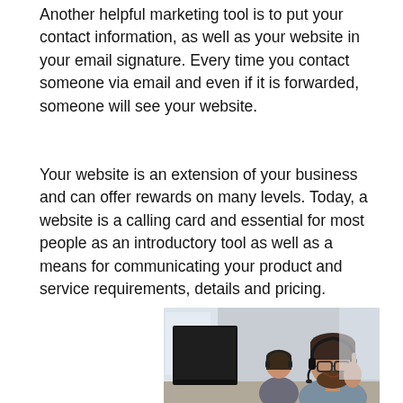Another helpful marketing tool is to put your contact information, as well as your website in your email signature. Every time you contact someone via email and even if it is forwarded, someone will see your website.
Your website is an extension of your business and can offer rewards on many levels. Today, a website is a calling card and essential for most people as an introductory tool as well as a means for communicating your product and service requirements, details and pricing.
[Figure (photo): Office call center scene with a smiling bearded man wearing glasses and a headset in the foreground, and a woman wearing a headset working at a computer in the background.]